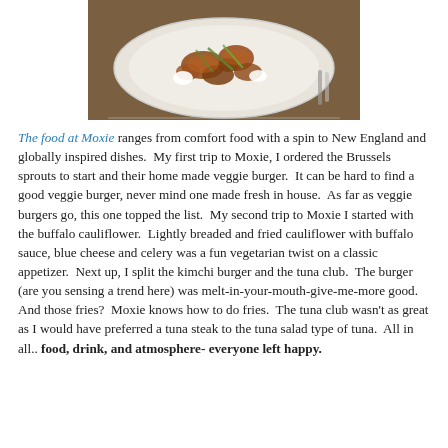[Figure (photo): A plate of food — appears to be buffalo cauliflower or similar fried appetizer with vegetables and white sauce on a white plate, photographed from above on a wooden surface.]
The food at Moxie ranges from comfort food with a spin to New England and globally inspired dishes.  My first trip to Moxie, I ordered the Brussels sprouts to start and their home made veggie burger.  It can be hard to find a good veggie burger, never mind one made fresh in house.  As far as veggie burgers go, this one topped the list.  My second trip to Moxie I started with the buffalo cauliflower.  Lightly breaded and fried cauliflower with buffalo sauce, blue cheese and celery was a fun vegetarian twist on a classic appetizer.  Next up, I split the kimchi burger and the tuna club.  The burger (are you sensing a trend here) was melt-in-your-mouth-give-me-more good.  And those fries?  Moxie knows how to do fries.  The tuna club wasn't as great as I would have preferred a tuna steak to the tuna salad type of tuna.  All in all.. food, drink, and atmosphere- everyone left happy.